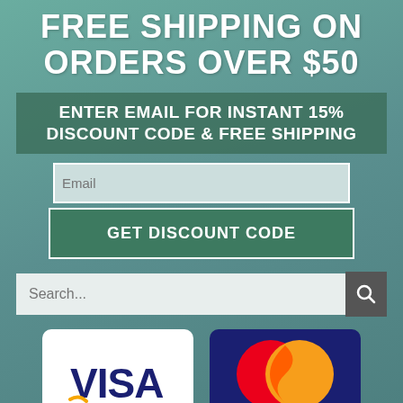FREE SHIPPING ON ORDERS OVER $50
ENTER EMAIL FOR INSTANT 15% DISCOUNT CODE & FREE SHIPPING
Email
GET DISCOUNT CODE
Search...
[Figure (logo): Visa payment logo on white rounded rectangle card]
[Figure (logo): MasterCard payment logo on dark blue rounded rectangle card with red and orange overlapping circles]